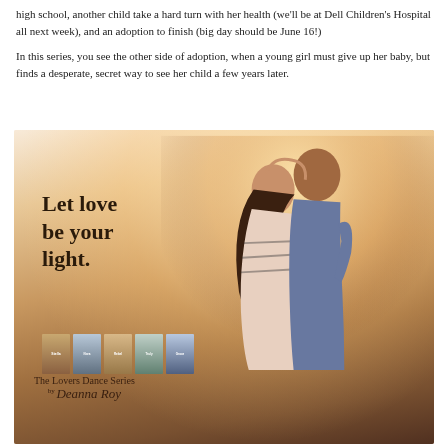high school, another child take a hard turn with her health (we'll be at Dell Children's Hospital all next week), and an adoption to finish (big day should be June 16!)
In this series, you see the other side of adoption, when a young girl must give up her baby, but finds a desperate, secret way to see her child a few years later.
[Figure (illustration): Promotional image for The Lovers Dance Series by Deanna Roy. Shows a romantic couple with foreheads touching in an embrace, with warm backlighting. Text overlay reads 'Let love be your light.' Five book covers are shown at the bottom left with caption 'The Lovers Dance Series by Deanna Roy'.]